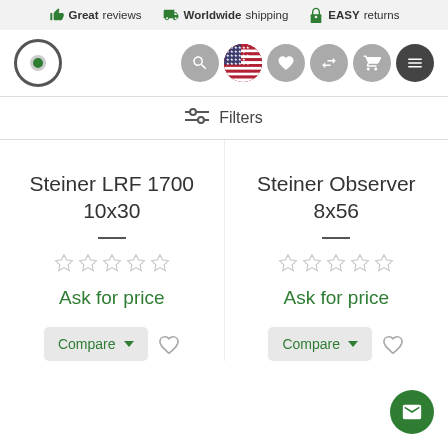Great reviews  Worldwide shipping  EASY returns
[Figure (screenshot): Navigation bar with logo circle, search icon, US flag icon, heart icon, compare icon, cart icon, menu icon]
Filters
Steiner LRF 1700 10x30
Ask for price
Compare
Steiner Observer 8x56
Ask for price
Compare